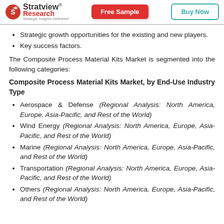Stratview Research | Free Sample | Buy Now
Strategic growth opportunities for the existing and new players.
Key success factors.
The Composite Process Material Kits Market is segmented into the following categories:
Composite Process Material Kits Market, by End-Use Industry Type
Aerospace & Defense (Regional Analysis: North America, Europe, Asia-Pacific, and Rest of the World)
Wind Energy (Regional Analysis: North America, Europe, Asia-Pacific, and Rest of the World)
Marine (Regional Analysis: North America, Europe, Asia-Pacific, and Rest of the World)
Transportation (Regional Analysis: North America, Europe, Asia-Pacific, and Rest of the World)
Others (Regional Analysis: North America, Europe, Asia-Pacific, and Rest of the World)